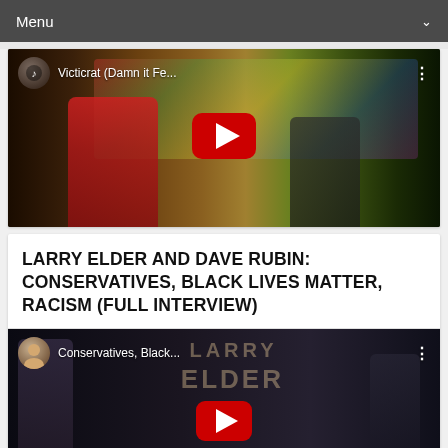Menu
[Figure (screenshot): YouTube video thumbnail for 'Victicrat (Damn it Fe...' showing a person in a red shirt near graffiti wall with YouTube play button overlay]
LARRY ELDER AND DAVE RUBIN: CONSERVATIVES, BLACK LIVES MATTER, RACISM (FULL INTERVIEW)
[Figure (screenshot): YouTube video thumbnail for 'Conservatives, Black...' showing Larry Elder interview with YouTube play button overlay]